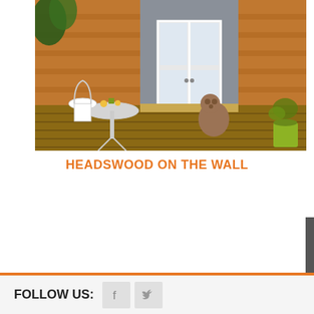[Figure (photo): Outdoor wooden deck/patio with a dog sitting in front of white French doors, a white ornate bistro table and chairs, and wood-clad house exterior. A plant pot is visible on the right side.]
HEADSWOOD ON THE WALL
FOLLOW US: